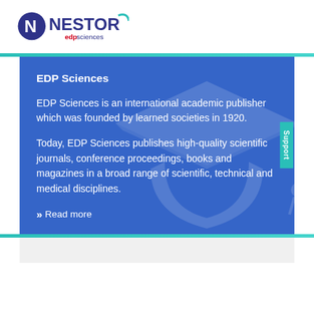[Figure (logo): NESTOR EDP Sciences logo — circular N icon on left, 'NESTOR' in bold blue/teal uppercase, 'edp sciences' in red/blue smaller text below]
EDP Sciences
EDP Sciences is an international academic publisher which was founded by learned societies in 1920.
Today, EDP Sciences publishes high-quality scientific journals, conference proceedings, books and magazines in a broad range of scientific, technical and medical disciplines.
>> Read more